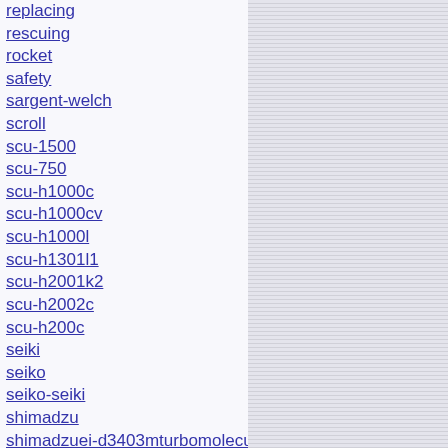replacing
rescuing
rocket
safety
sargent-welch
scroll
scu-1500
scu-750
scu-h1000c
scu-h1000cv
scu-h1000l
scu-h1301l1
scu-h2001k2
scu-h2002c
scu-h200c
seiki
seiko
seiko-seiki
shimadzu
shimadzuei-d3403mturbomolecularcontroller220
sprengel
stp-a803c
stp-ixa3306c
stp-vw3503u